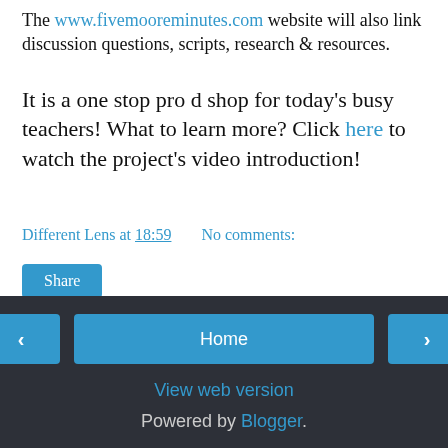The www.fivemooreminutes.com website will also link discussion questions, scripts, research & resources.
It is a one stop pro d shop for today's busy teachers! What to learn more? Click here to watch the project's video introduction!
Different Lens at 18:59    No comments:
Share
Home   View web version   Powered by Blogger.